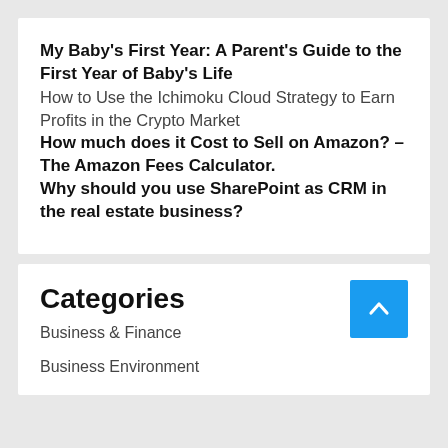My Baby's First Year: A Parent's Guide to the First Year of Baby's Life
How to Use the Ichimoku Cloud Strategy to Earn Profits in the Crypto Market
How much does it Cost to Sell on Amazon? – The Amazon Fees Calculator.
Why should you use SharePoint as CRM in the real estate business?
Categories
Business & Finance
Business Environment